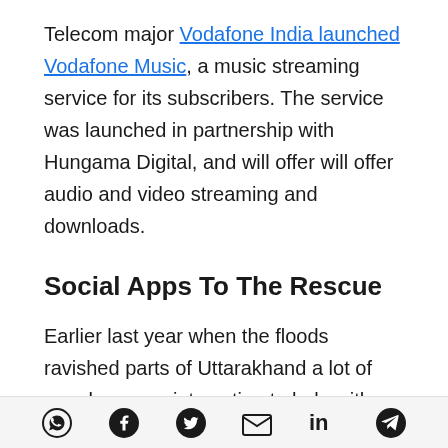Telecom major Vodafone India launched Vodafone Music, a music streaming service for its subscribers. The service was launched in partnership with Hungama Digital, and will offer will offer audio and video streaming and downloads.
Social Apps To The Rescue
Earlier last year when the floods ravished parts of Uttarakhand a lot of people swung into action to help with rescue and relief efforts including Google which launched their Google Person Finder service
Social share icons: WhatsApp, Facebook, Twitter, Email, LinkedIn, Telegram